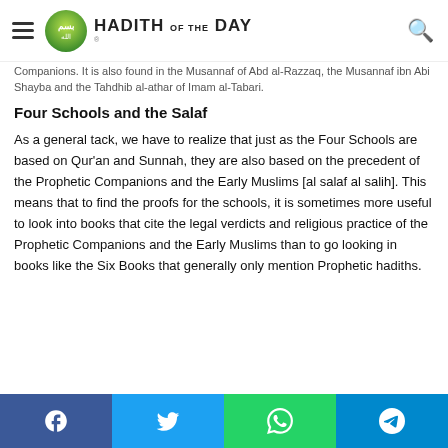HADITH OF THE DAY
This Athar is authentic from Sayyidna Umar and others of the Companions. It is also found in the Musannaf of Abd al-Razzaq, the Musannaf ibn Abi Shayba and the Tahdhib al-athar of Imam al-Tabari.
Four Schools and the Salaf
As a general tack, we have to realize that just as the Four Schools are based on Qur'an and Sunnah, they are also based on the precedent of the Prophetic Companions and the Early Muslims [al salaf al salih]. This means that to find the proofs for the schools, it is sometimes more useful to look into books that cite the legal verdicts and religious practice of the Prophetic Companions and the Early Muslims than to go looking in books like the Six Books that generally only mention Prophetic hadiths.
Share buttons: Facebook, Twitter, WhatsApp, Telegram